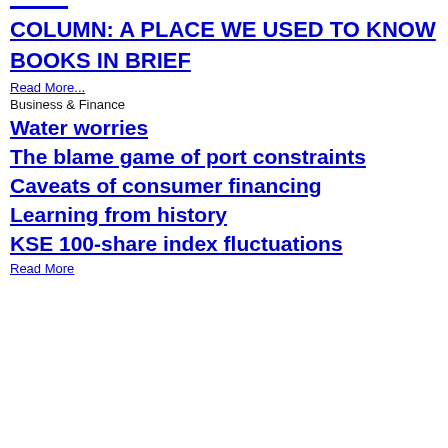COLUMN: A PLACE WE USED TO KNOW
BOOKS IN BRIEF
Read More...
Business & Finance
Water worries
The blame game of port constraints
Caveats of consumer financing
Learning from history
KSE 100-share index fluctuations
Read More